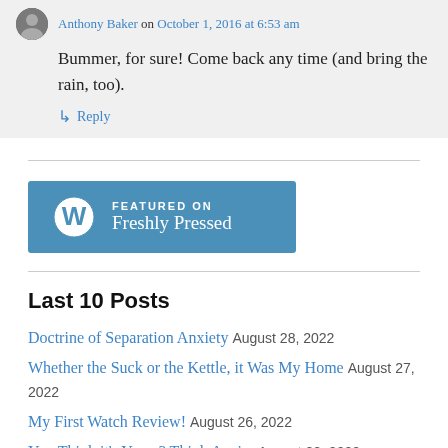Anthony Baker on October 1, 2016 at 6:53 am
Bummer, for sure! Come back any time (and bring the rain, too).
↳ Reply
[Figure (logo): WordPress Freshly Pressed badge — blue rectangle with WordPress W logo and text FEATURED ON Freshly Pressed]
Last 10 Posts
Doctrine of Separation Anxiety August 28, 2022
Whether the Suck or the Kettle, it Was My Home August 27, 2022
My First Watch Review! August 26, 2022
You Think it's Yours? Think Again. August 22, 2022